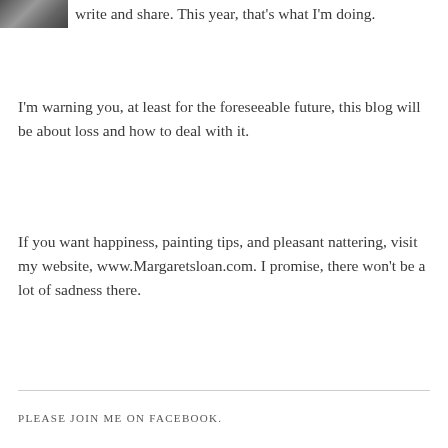[Figure (photo): Small thumbnail photo of a person, partially visible at top-left corner]
write and share. This year, that's what I'm doing. I'm warning you, at least for the foreseeable future, this blog will be about loss and how to deal with it.
If you want happiness, painting tips, and pleasant nattering, visit my website, www.Margaretsloan.com. I promise, there won't be a lot of sadness there.
PLEASE JOIN ME ON FACEBOOK.
WHAT'S NEW